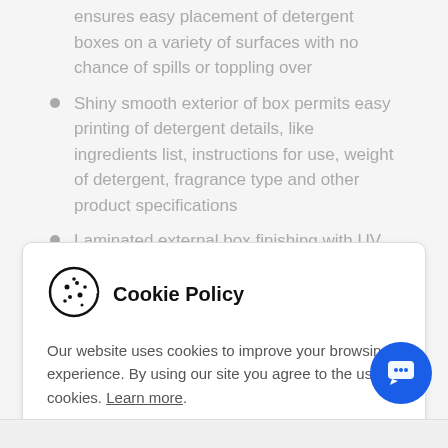ensures easy placement of detergent boxes on a variety of surfaces with no chance of spills or toppling over
Shiny smooth exterior of box permits easy printing of detergent details, like ingredients list, instructions for use, weight of detergent, fragrance type and other product specifications
Laminated external box finishing with UV coating
Cookie Policy
Our website uses cookies to improve your browsing experience. By using our site you agree to the use of cookies. Learn more.
Close